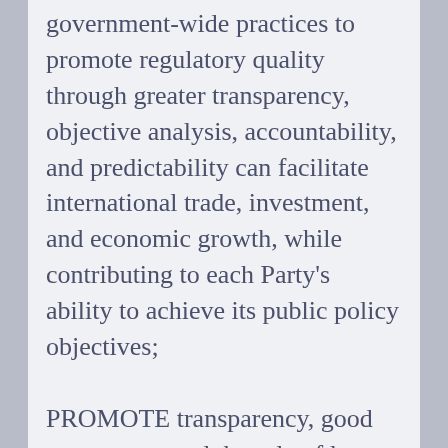government-wide practices to promote regulatory quality through greater transparency, objective analysis, accountability, and predictability can facilitate international trade, investment, and economic growth, while contributing to each Party's ability to achieve its public policy objectives;
PROMOTE transparency, good governance and the rule of law, and eliminate bribery and corruption in trade and investment;
RECOGNIZE the importance of increased engagement by indigenous peoples in trade and investment;